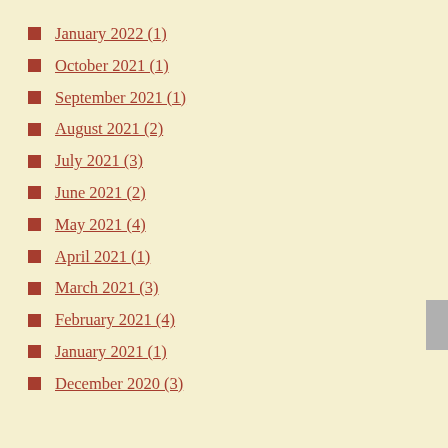January 2022 (1)
October 2021 (1)
September 2021 (1)
August 2021 (2)
July 2021 (3)
June 2021 (2)
May 2021 (4)
April 2021 (1)
March 2021 (3)
February 2021 (4)
January 2021 (1)
December 2020 (3)